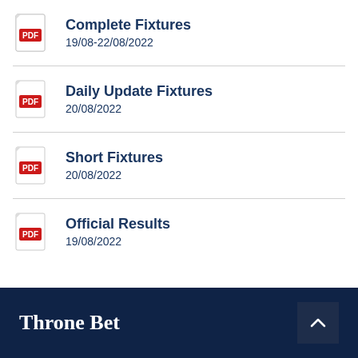Complete Fixtures
19/08–22/08/2022
Daily Update Fixtures
20/08/2022
Short Fixtures
20/08/2022
Official Results
19/08/2022
Throne Bet